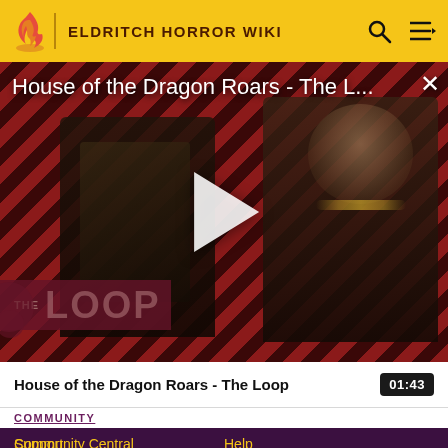ELDRITCH HORROR WIKI
[Figure (screenshot): Video player showing 'House of the Dragon Roars - The L...' with a play button in the center. Background has diagonal red and dark stripes with 'THE LOOP' watermark. Two characters visible: an armored figure on the left and a woman on the right.]
House of the Dragon Roars - The Loop
01:43
COMMUNITY
Community Central
Help
Support